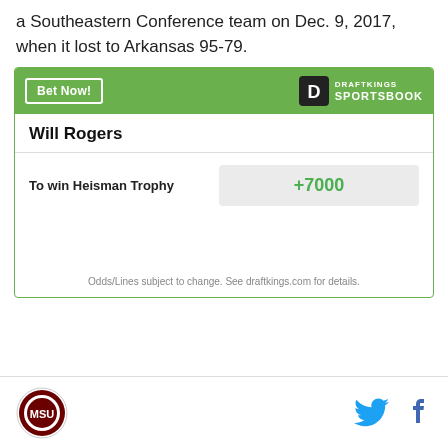a Southeastern Conference team on Dec. 9, 2017, when it lost to Arkansas 95-79.
[Figure (infographic): DraftKings Sportsbook betting widget showing Will Rogers odds to win Heisman Trophy at +7000. Green header with 'Bet Now!' button and DraftKings Sportsbook logo. Disclaimer: Odds/Lines subject to change. See draftkings.com for details.]
Mississippi State Bulldogs logo icon, Twitter bird icon, Facebook f icon